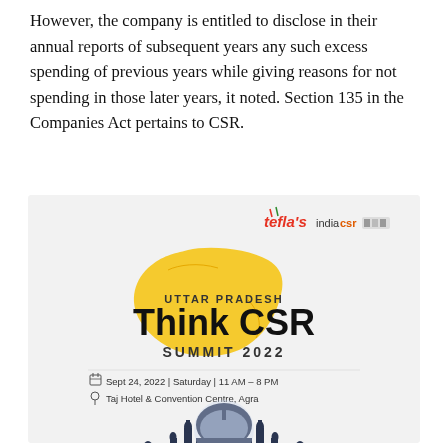However, the company is entitled to disclose in their annual reports of subsequent years any such excess spending of previous years while giving reasons for not spending in those later years, it noted. Section 135 in the Companies Act pertains to CSR.
[Figure (infographic): Event banner for Uttar Pradesh Think CSR Summit 2022. Features tefla's and indiacsr logos at top right. Yellow map shape of Uttar Pradesh in center with event name overlaid. Text: UTTAR PRADESH Think CSR SUMMIT 2022. Date: Sept 24, 2022 | Saturday | 11 AM - 8 PM. Venue: Taj Hotel & Convention Centre, Agra. Bottom shows silhouette of Taj Mahal and other Agra monuments.]